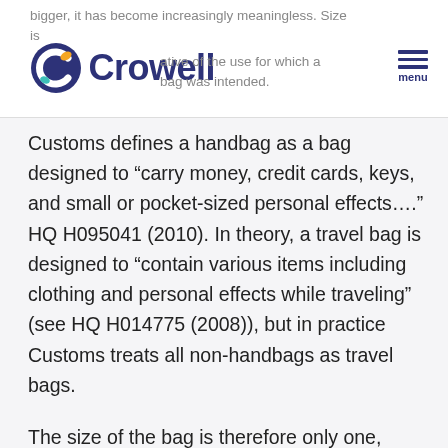bigger, it has become increasingly meaningless. Size is becoming less indicative of the use for which a bag was intended.
Customs defines a handbag as a bag designed to “carry money, credit cards, keys, and small or pocket-sized personal effects….” HQ H095041 (2010). In theory, a travel bag is designed to “contain various items including clothing and personal effects while traveling” (see HQ H014775 (2008)), but in practice Customs treats all non-handbags as travel bags.
The size of the bag is therefore only one, albeit important, factor in identifying a bag’s intended use. Larger bags are more likely intended for clothes, books and food while smaller bags are probably designed for smaller personal effects. But, as Customs has